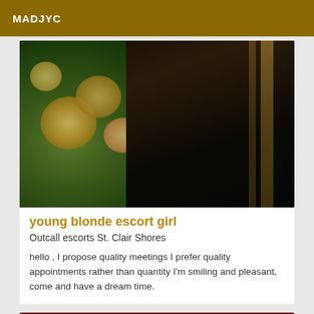MADJYC
[Figure (photo): Photo of flowers (yellow/peach blooms, green stems) on the left side and dark wooden surface with gold striping on the right side]
young blonde escort girl
Outcall escorts St. Clair Shores
hello , I propose quality meetings I prefer quality appointments rather than quantity I'm smiling and pleasant, come and have a dream time.
Online